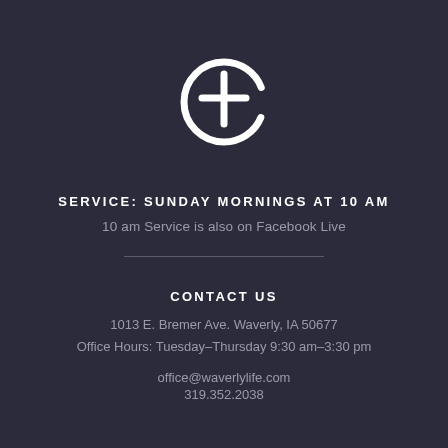[Figure (logo): Church logo: a circle with a cross and the letter e combined in white]
SERVICE: SUNDAY MORNINGS AT 10 AM
10 am Service is also on Facebook Live
CONTACT US
1013 E. Bremer Ave. Waverly, IA 50677
Office Hours: Tuesday–Thursday 9:30 am–3:30 pm
office@waverlylife.com
319.352.2038